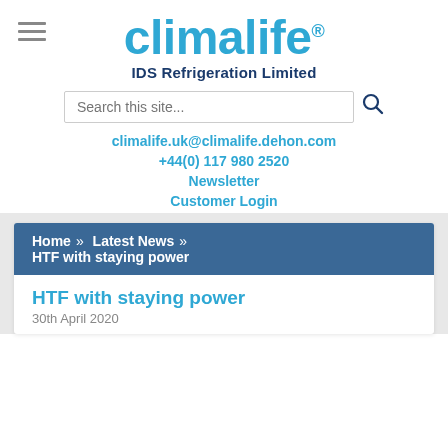[Figure (logo): Climalife logo in blue with registered trademark symbol, subtitle IDS Refrigeration Limited]
Search this site...
climalife.uk@climalife.dehon.com
+44(0) 117 980 2520
Newsletter
Customer Login
Home » Latest News » HTF with staying power
HTF with staying power
30th April 2020